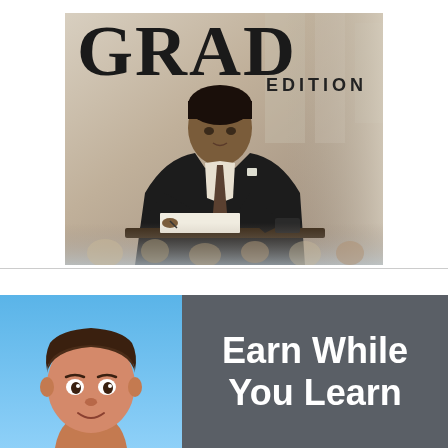[Figure (photo): Black and white / sepia vintage photo of a man in a suit sitting at a desk writing, with 'GRAD EDITION' text overlaid. A crowd of faces appears at the bottom of the image.]
[Figure (illustration): Two-panel banner: left panel shows a cartoon illustration of a young man with brown hair on a blue gradient background; right panel is a dark gray box with white bold text reading 'Earn While You Learn'.]